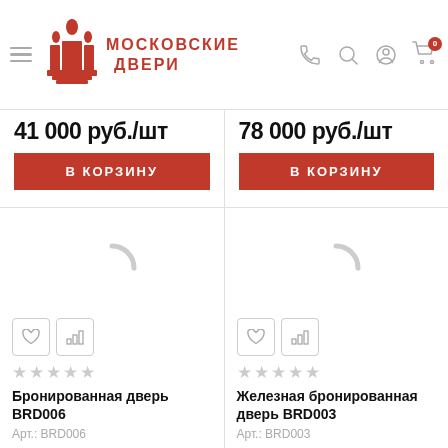Московские двери — header navigation
41 000 руб./шт
В КОРЗИНУ
78 000 руб./шт
В КОРЗИНУ
[Figure (illustration): Loading spinner arc placeholder for product image, left card]
★★★★★
Бронированная дверь BRD006
Арт.: BRD006
[Figure (illustration): Loading spinner arc placeholder for product image, right card]
★★★★★
Железная бронированная дверь BRD003
Арт.: BRD003